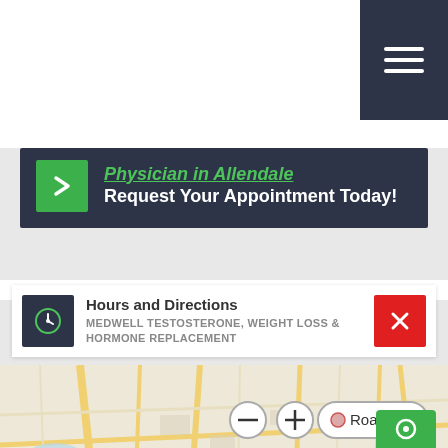[Figure (screenshot): Top navigation hamburger menu icon on dark navy background, top right corner]
Physician in Allendale
Request Your Appointment Today!
Hours and Directions
MEDWELL TESTOSTERONE, WEIGHT LOSS & HORMONE REPLACEMENT
[Figure (map): Bing Maps showing Midland Park area with location pin near Hortendyke, map controls showing zoom in/out and Road view toggle, scale bar showing 2000 feet / 500 m, Microsoft Bing attribution and 2022 TomTom, Microsoft Corporation, OpenStreetMap copyright notice]